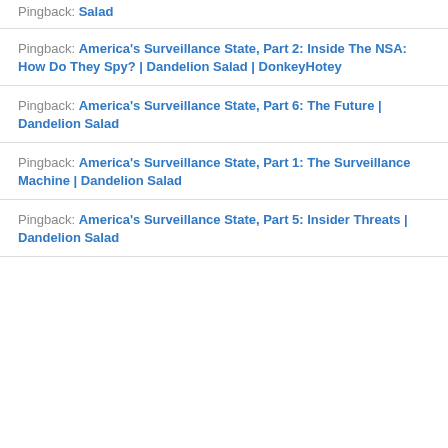Pingback: Salad
Pingback: America's Surveillance State, Part 2: Inside The NSA: How Do They Spy? | Dandelion Salad | DonkeyHotey
Pingback: America's Surveillance State, Part 6: The Future | Dandelion Salad
Pingback: America's Surveillance State, Part 1: The Surveillance Machine | Dandelion Salad
Pingback: America's Surveillance State, Part 5: Insider Threats | Dandelion Salad